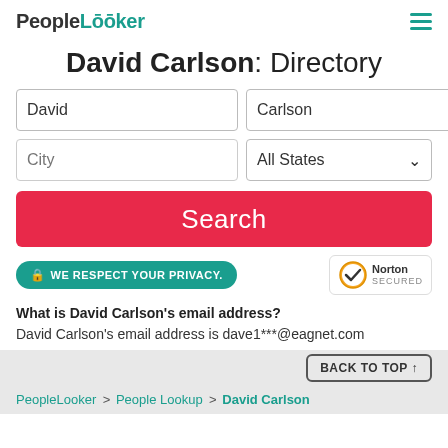PeopleLooker
David Carlson: Directory
[Figure (screenshot): Search form with First Name field showing 'David', Last Name field showing 'Carlson', City placeholder field, All States dropdown, and a red Search button]
[Figure (other): Green privacy badge reading 'WE RESPECT YOUR PRIVACY.' and Norton Secured badge]
What is David Carlson's email address?
David Carlson's email address is dave1***@eagnet.com
BACK TO TOP ↑
PeopleLooker > People Lookup > David Carlson